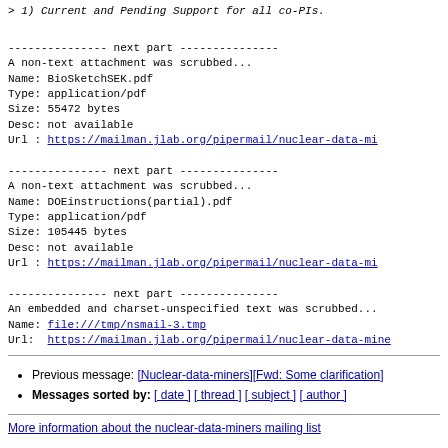> 1) Current and Pending Support for all co-PIs.
--------------- next part ---------------
A non-text attachment was scrubbed...
Name: BioSketchSEK.pdf
Type: application/pdf
Size: 55472 bytes
Desc: not available
Url : https://mailman.jlab.org/pipermail/nuclear-data-mi...
--------------- next part ---------------
A non-text attachment was scrubbed...
Name: DOEinstructions(partial).pdf
Type: application/pdf
Size: 105445 bytes
Desc: not available
Url : https://mailman.jlab.org/pipermail/nuclear-data-mi...
--------------- next part ---------------
An embedded and charset-unspecified text was scrubbed...
Name: file:///tmp/nsmail-3.tmp
Url: https://mailman.jlab.org/pipermail/nuclear-data-mine...
Previous message: [Nuclear-data-miners][Fwd: Some clarification]
Messages sorted by: [ date ] [ thread ] [ subject ] [ author ]
More information about the nuclear-data-miners mailing list